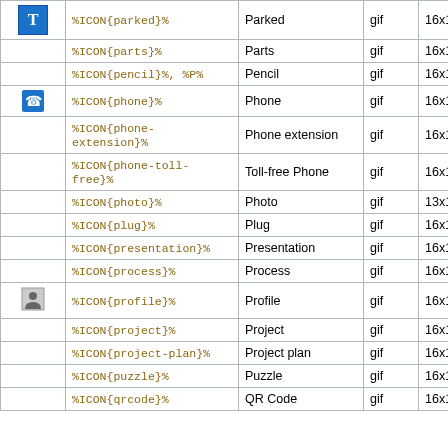| Icon | Code | Name | Type | Size |
| --- | --- | --- | --- | --- |
| [T] | %ICON{parked}% | Parked | gif | 16x16 |
|  | %ICON{parts}% | Parts | gif | 16x16 |
|  | %ICON{pencil}%, %P% | Pencil | gif | 16x16 |
| [phone icon] | %ICON{phone}% | Phone | gif | 16x16 |
|  | %ICON{phone-extension}% | Phone extension | gif | 16x16 |
|  | %ICON{phone-toll-free}% | Toll-free Phone | gif | 16x16 |
|  | %ICON{photo}% | Photo | gif | 13x10 |
|  | %ICON{plug}% | Plug | gif | 16x16 |
|  | %ICON{presentation}% | Presentation | gif | 16x16 |
|  | %ICON{process}% | Process | gif | 16x16 |
| [profile icon] | %ICON{profile}% | Profile | gif | 16x16 |
|  | %ICON{project}% | Project | gif | 16x16 |
|  | %ICON{project-plan}% | Project plan | gif | 16x16 |
|  | %ICON{puzzle}% | Puzzle | gif | 16x16 |
|  | %ICON{qrcode}% | QR Code | gif | 16x16 |